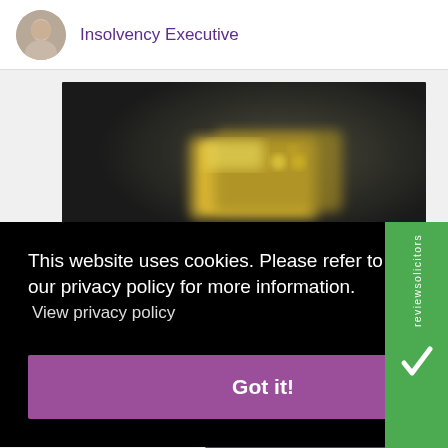[Figure (photo): Profile photo of Insolvency Executive (circular avatar)]
Insolvency Executive
[Figure (photo): Blurred dark background photo showing gold credit cards]
This website uses cookies. Please refer to our privacy policy for more information.
View privacy policy
Got it!
Chat now
[Figure (logo): reviewsolicitors green badge with vertical text and bird logo]